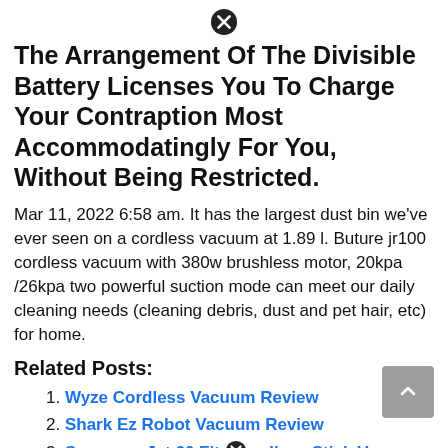[Figure (other): Close/cancel icon (X in circle) at top center of page]
The Arrangement Of The Divisible Battery Licenses You To Charge Your Contraption Most Accommodatingly For You, Without Being Restricted.
Mar 11, 2022 6:58 am. It has the largest dust bin we've ever seen on a cordless vacuum at 1.89 l. Buture jr100 cordless vacuum with 380w brushless motor, 20kpa /26kpa two powerful suction mode can meet our daily cleaning needs (cleaning debris, dust and pet hair, etc) for home.
Related Posts:
1. Wyze Cordless Vacuum Review
2. Shark Ez Robot Vacuum Review
3. Samsung Jet 60 Fit [close icon] ordless Stick Vacuum